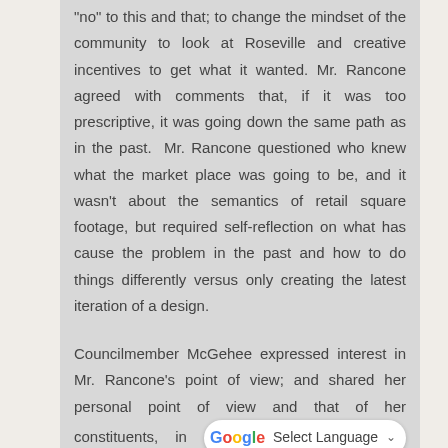"no" to this and that; to change the mindset of the community to look at Roseville and creative incentives to get what it wanted. Mr. Rancone agreed with comments that, if it was too prescriptive, it was going down the same path as in the past.  Mr. Rancone questioned who knew what the market place was going to be, and it wasn't about the semantics of retail square footage, but required self-reflection on what has cause the problem in the past and how to do things differently versus only creating the latest iteration of a design.
Councilmember McGehee expressed interest in Mr. Rancone's point of view; and shared her personal point of view and that of her constituents, in [Select Language] increment financing (TIF) districts did not